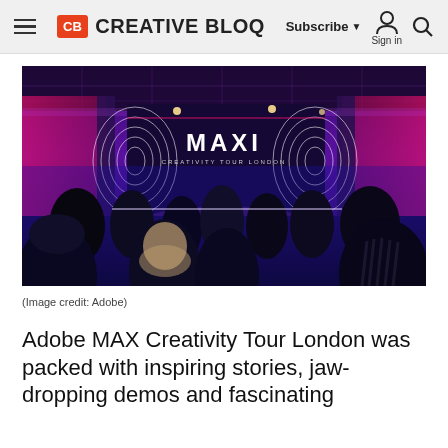Creative Bloq — Subscribe | Sign in | Search
[Figure (photo): A crowd of people viewed from behind in a dark event hall lit with purple and pink lights. A large stage backdrop displays the 'MAXI' Adobe MAX Creativity Tour London branding with concentric line patterns.]
(Image credit: Adobe)
Adobe MAX Creativity Tour London was packed with inspiring stories, jaw-dropping demos and fascinating